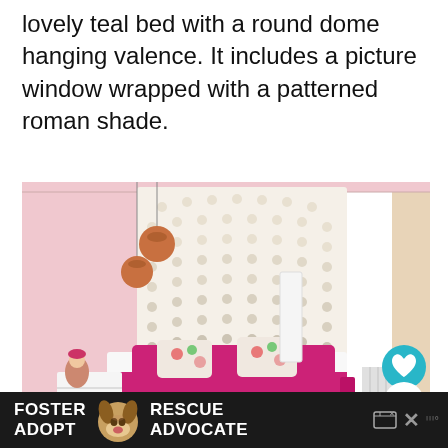lovely teal bed with a round dome hanging valence. It includes a picture window wrapped with a patterned roman shade.
[Figure (photo): A pink bedroom featuring a large white tufted headboard, a bed with bright magenta/pink bedding and floral accent pillows, rose gold pendant lights, a white nightstand with a doll, and sheer curtains. Social interaction buttons (heart icon with count 843, share button) visible on the right side.]
FOSTER ADOPT [dog image] RESCUE ADVOCATE